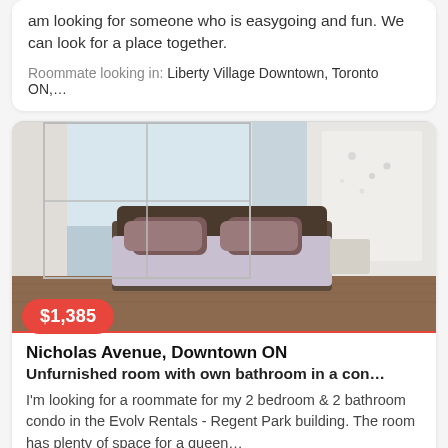am looking for someone who is easygoing and fun. We can look for a place together.
Roommate looking in: Liberty Village Downtown, Toronto ON,...
[Figure (photo): Interior photo of a furnished bedroom with a large window showing a city view, a double bed with light purple/grey bedding, dark wood headboard, dark wood flooring, and white walls. Price badge showing $1,385 overlaid at the bottom left.]
Nicholas Avenue, Downtown ON
Unfurnished room with own bathroom in a con...
I'm looking for a roommate for my 2 bedroom & 2 bathroom condo in the Evolv Rentals - Regent Park building. The room has plenty of space for a queen...
Room near: Cabbagetown Downtown, Toronto ON, Cabbage t...